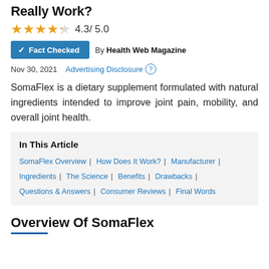Really Work?
4.3/ 5.0
✓ Fact Checked   By Health Web Magazine
Nov 30, 2021   Advertising Disclosure
SomaFlex is a dietary supplement formulated with natural ingredients intended to improve joint pain, mobility, and overall joint health.
In This Article
SomaFlex Overview | How Does It Work? | Manufacturer | Ingredients | The Science | Benefits | Drawbacks | Questions & Answers | Consumer Reviews | Final Words
Overview Of SomaFlex